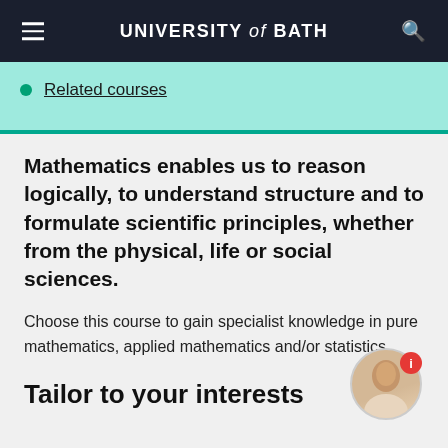UNIVERSITY of BATH
Related courses
Mathematics enables us to reason logically, to understand structure and to formulate scientific principles, whether from the physical, life or social sciences.
Choose this course to gain specialist knowledge in pure mathematics, applied mathematics and/or statistics.
Tailor to your interests